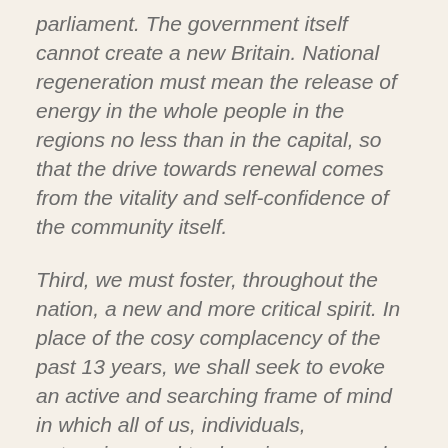parliament. The government itself cannot create a new Britain. National regeneration must mean the release of energy in the whole people in the regions no less than in the capital, so that the drive towards renewal comes from the vitality and self-confidence of the community itself.
Third, we must foster, throughout the nation, a new and more critical spirit. In place of the cosy complacency of the past 13 years, we shall seek to evoke an active and searching frame of mind in which all of us, individuals, enterprises and trade unions are ready to re-examine our methods of work, to innovate and to modernise. Here too, the Government can give a lead by subjecting to continuing and probing review the practices of its own Departments of State, the administration of justice and the social services, the Statute Book